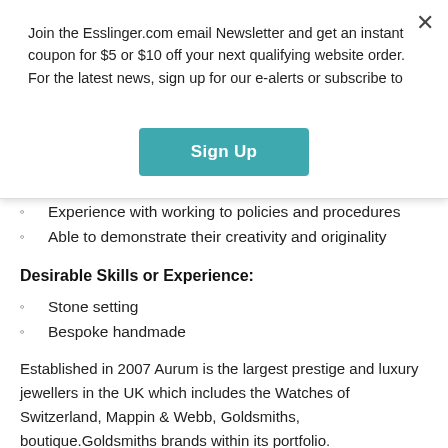Join the Esslinger.com email Newsletter and get an instant coupon for $5 or $10 off your next qualifying website order. For the latest news, sign up for our e-alerts or subscribe to
Sign Up
Experience with working to policies and procedures
Able to demonstrate their creativity and originality
Desirable Skills or Experience:
Stone setting
Bespoke handmade
Established in 2007 Aurum is the largest prestige and luxury jewellers in the UK which includes the Watches of Switzerland, Mappin & Webb, Goldsmiths, boutique.Goldsmiths brands within its portfolio.
The group is proud to be the largest distributor in the world of